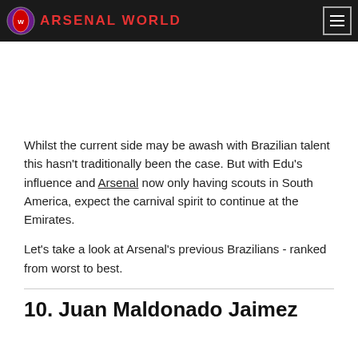ARSENAL WORLD
Whilst the current side may be awash with Brazilian talent this hasn't traditionally been the case. But with Edu's influence and Arsenal now only having scouts in South America, expect the carnival spirit to continue at the Emirates.
Let's take a look at Arsenal's previous Brazilians - ranked from worst to best.
10. Juan Maldonado Jaimez